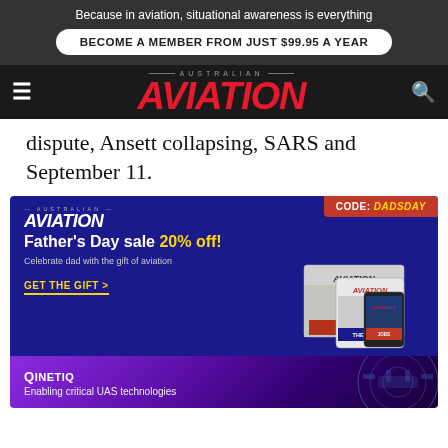Because in aviation, situational awareness is everything
BECOME A MEMBER FROM JUST $99.95 A YEAR
[Figure (logo): Australian Aviation magazine logo with red italic AVIATION text on dark background, hamburger menu icon left, search icon right]
dispute, Ansett collapsing, SARS and September 11.
[Figure (infographic): Australian Aviation Father's Day sale advertisement. Dark blue background. Code badge top right: CODE: DADSDAY in red with yellow text. Left side shows Aviation logo, headline 'Father's Day sale 20% off!' with 20% off in yellow, subtext 'Celebrate dad with the gift of aviation', and yellow GET THE GIFT > link. Right side shows stacked Aviation magazine covers.]
[Figure (infographic): QinetiQ advertisement with purple gradient background showing drone/UAS imagery. Text: QINETIQ — Enabling critical UAS technologies]